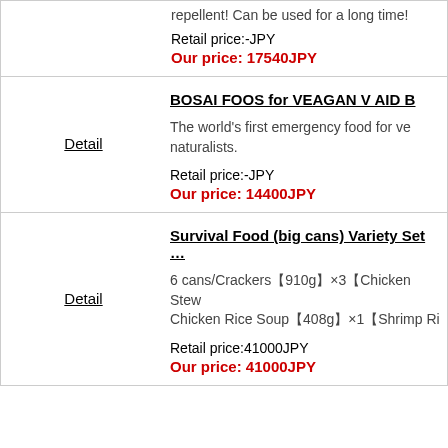repellent! Can be used for a long time!
Retail price:-JPY
Our price: 17540JPY
BOSAI FOOS for VEAGAN V AID B…
Detail
The world's first emergency food for ve… naturalists.
Retail price:-JPY
Our price: 14400JPY
Survival Food (big cans) Variety Set …
Detail
6 cans/Crackers【910g】×3【Chicken Stew… Chicken Rice Soup【408g】×1【Shrimp Ri…
Retail price:41000JPY
Our price: 41000JPY